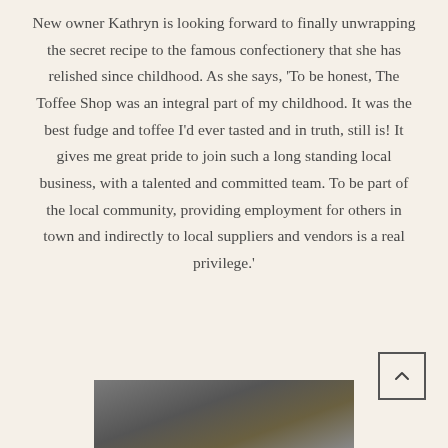New owner Kathryn is looking forward to finally unwrapping the secret recipe to the famous confectionery that she has relished since childhood. As she says, 'To be honest, The Toffee Shop was an integral part of my childhood. It was the best fudge and toffee I'd ever tasted and in truth, still is! It gives me great pride to join such a long standing local business, with a talented and committed team. To be part of the local community, providing employment for others in town and indirectly to local suppliers and vendors is a real privilege.'
[Figure (photo): Partial photo at the bottom of the page showing a dark surface, possibly a shop sign or counter.]